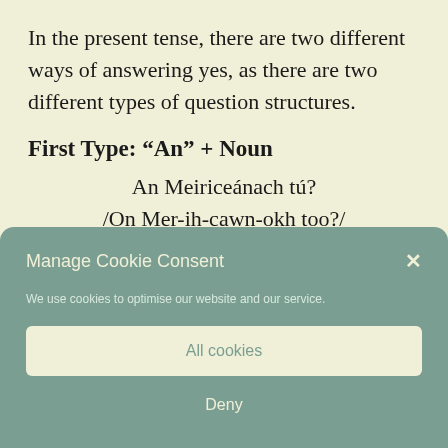In the present tense, there are two different ways of answering yes, as there are two different types of question structures.
First Type: “An” + Noun
An Meiriceánach tú?
/On Mer-ih-cawn-okh too?/
Manage Cookie Consent
We use cookies to optimise our website and our service.
All cookies
Deny